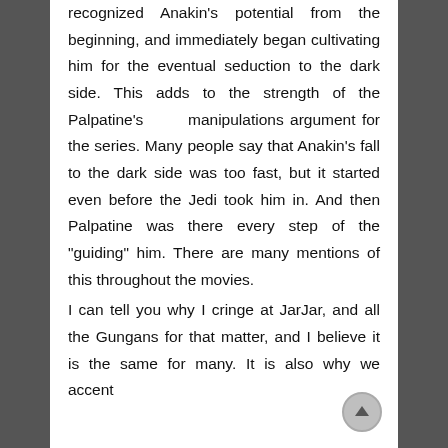recognized Anakin's potential from the beginning, and immediately began cultivating him for the eventual seduction to the dark side. This adds to the strength of the Palpatine's manipulations argument for the series. Many people say that Anakin's fall to the dark side was too fast, but it started even before the Jedi took him in. And then Palpatine was there every step of the "guiding" him. There are many mentions of this throughout the movies.
I can tell you why I cringe at JarJar, and all the Gungans for that matter, and I believe it is the same for many. It is also why we accent